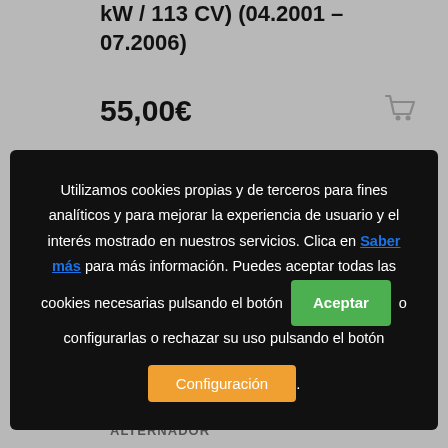kW / 113 CV) (04.2001 – 07.2006)
55,00€
[Figure (screenshot): Cookie consent modal overlay on a product page. The modal has a dark/black background and contains text in Spanish: 'Utilizamos cookies propias y de terceros para fines analíticos y para mejorar la experiencia de usuario y el interés mostrado en nuestros servicios. Clica en Saber más para más información. Puedes aceptar todas las cookies necesarias pulsando el botón [Aceptar] o configurarlas o rechazar su uso pulsando el botón [Configuración].' with a green Aceptar button and an orange Configuración button.]
ALTERNADOR